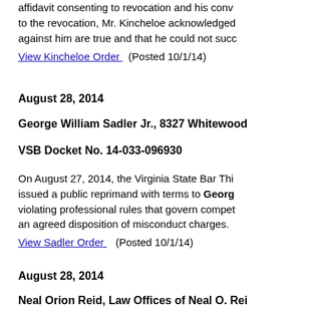affidavit consenting to revocation and his conv to the revocation, Mr. Kincheloe acknowledged against him are true and that he could not succ
View Kincheloe Order  (Posted 10/1/14)
August 28, 2014
George William Sadler Jr., 8327 Whitewood
VSB Docket No. 14-033-096930
On August 27, 2014, the Virginia State Bar Thi issued a public reprimand with terms to George violating professional rules that govern compet an agreed disposition of misconduct charges.
View Sadler Order   (Posted 10/1/14)
August 28, 2014
Neal Orion Reid, Law Offices of Neal O. Rei Bedford Avenue, Richmond, Virginia 2300